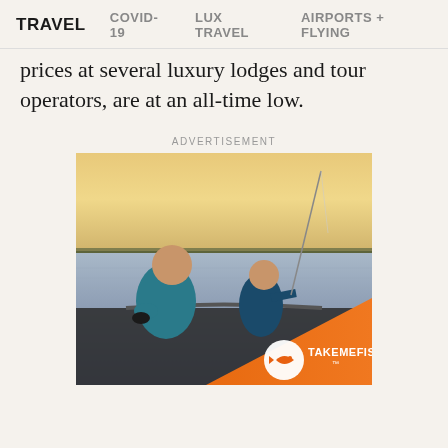TRAVEL  COVID-19  LUX TRAVEL  AIRPORTS + FLYING
prices at several luxury lodges and tour operators, are at an all-time low.
ADVERTISEMENT
[Figure (photo): Advertisement for TakeMeFishing showing an adult and child sitting in a boat fishing at sunset on a calm body of water. Orange branding with TAKEMEFISHING logo in the bottom right corner.]